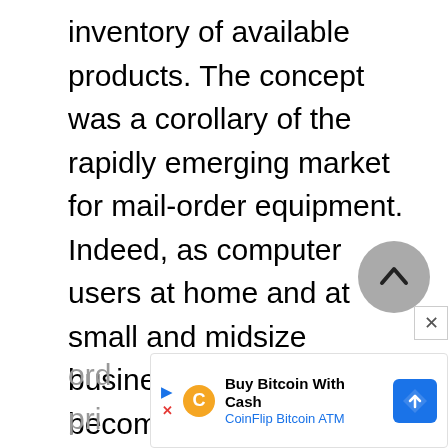inventory of available products. The concept was a corollary of the rapidly emerging market for mail-order equipment. Indeed, as computer users at home and at small and midsize businesses were becoming more comfortable with PC technology, they were increasingly willing to purchase software and equipment through the mail without the aid of a salesperson. By cutting out the middle man, mail-ord... pri...
[Figure (other): Scroll-to-top circular button with upward chevron arrow, gray background]
[Figure (other): Advertisement banner: Buy Bitcoin With Cash - CoinFlip Bitcoin ATM, with orange C logo and blue diamond navigation icon]